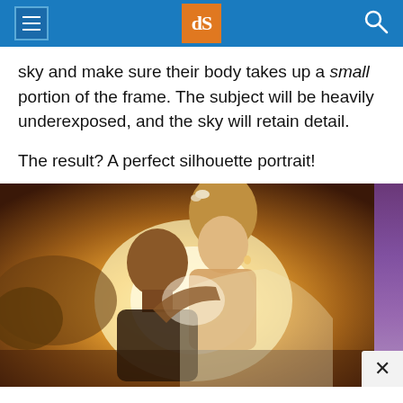dPS navigation header
sky and make sure their body takes up a small portion of the frame. The subject will be heavily underexposed, and the sky will retain detail.
The result? A perfect silhouette portrait!
[Figure (photo): A couple kissing at golden hour/sunset, bride with floral hair accessory and groom holding her, warm backlit golden light behind them. A purple gradient sidebar strip is visible on the right edge.]